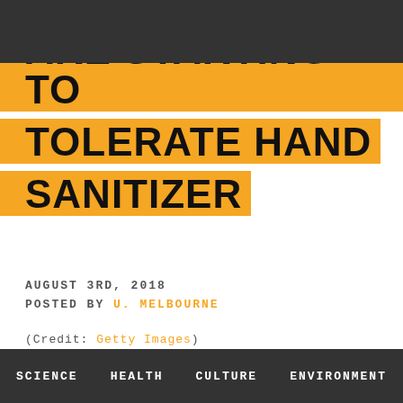ARE STARTING TO TOLERATE HAND SANITIZER
AUGUST 3RD, 2018
POSTED BY U. MELBOURNE
(Credit: Getty Images)
SHARE THIS ARTICLE
SCIENCE  HEALTH  CULTURE  ENVIRONMENT